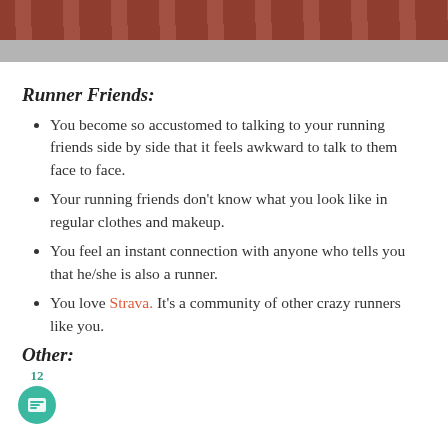[Figure (photo): Top portion of a photo showing reddish-brown railings/bleachers and a concrete floor/ground from an aerial or angled perspective.]
Runner Friends:
You become so accustomed to talking to your running friends side by side that it feels awkward to talk to them face to face.
Your running friends don't know what you look like in regular clothes and makeup.
You feel an instant connection with anyone who tells you that he/she is also a runner.
You love Strava. It's a community of other crazy runners like you.
Other: